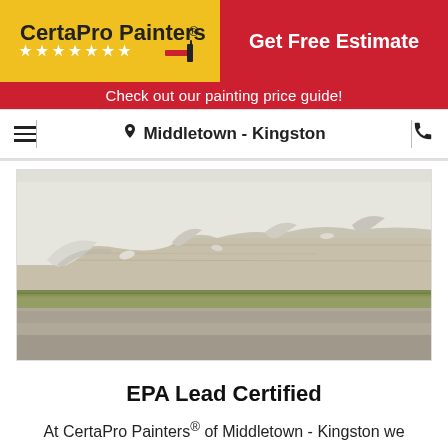[Figure (logo): CertaPro Painters logo on yellow background with stars and brush graphic]
Get Free Estimate
Check out our painting price guide!
Middletown - Kingston
[Figure (photo): Close-up photo of peeling white paint on weathered wooden siding with green mold/algae on lower boards]
EPA Lead Certified
At CertaPro Painters® of Middletown - Kingston we